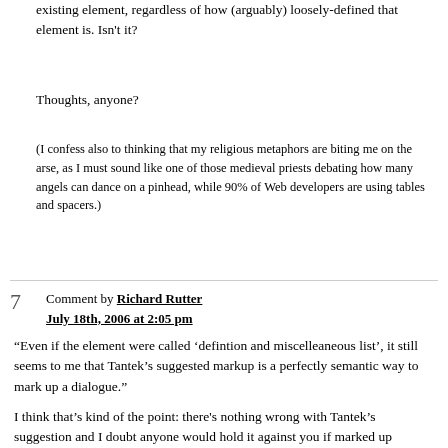existing element, regardless of how (arguably) loosely-defined that element is. Isn't it?
Thoughts, anyone?
(I confess also to thinking that my religious metaphors are biting me on the arse, as I must sound like one of those medieval priests debating how many angels can dance on a pinhead, while 90% of Web developers are using tables and spacers.)
Comment by Richard Rutter
July 18th, 2006 at 2:05 pm
“Even if the element were called ‘defintion and miscelleaneous list’, it still seems to me that Tantek’s suggested markup is a perfectly semantic way to mark up a dialogue.”
I think that’s kind of the point: there’s nothing wrong with Tantek’s suggestion and I doubt anyone would hold it against you if marked up dialogue like that. But the point is that perhaps there’s nothing wrong with using a definition list either.
We all know that HTML was designed for marking up scientific